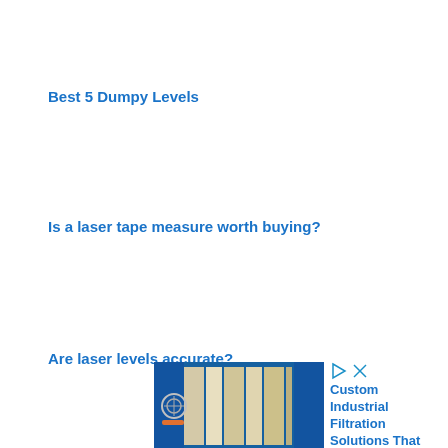Best 5 Dumpy Levels
Is a laser tape measure worth buying?
Are laser levels accurate?
[Figure (photo): Industrial filtration equipment advertisement showing blue metal housing with filter media visible]
Custom Industrial Filtration Solutions That Fit Your Unique & Specific Requirements.
Ad